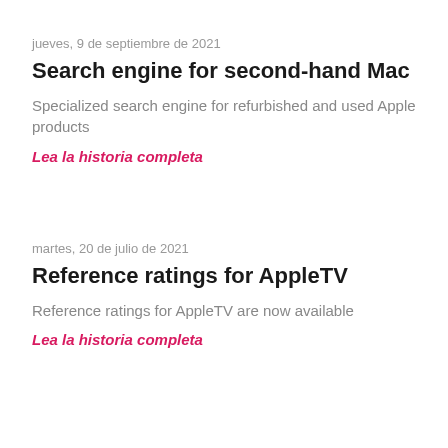jueves, 9 de septiembre de 2021
Search engine for second-hand Mac
Specialized search engine for refurbished and used Apple products
Lea la historia completa
martes, 20 de julio de 2021
Reference ratings for AppleTV
Reference ratings for AppleTV are now available
Lea la historia completa